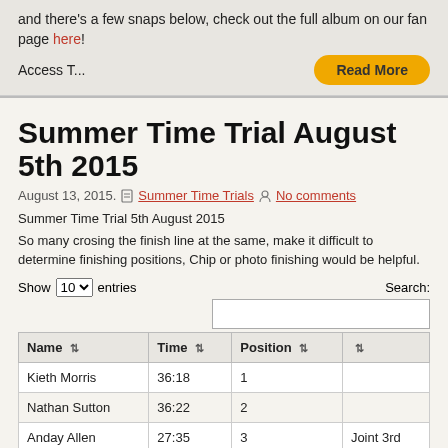and there's a few snaps below, check out the full album on our fan page here!
Access T...
Summer Time Trial August 5th 2015
August 13, 2015.   Summer Time Trials   No comments
Summer Time Trial 5th August 2015
So many crosing the finish line at the same, make it difficult to determine finishing positions, Chip or photo finishing would be helpful.
| Name | Time | Position |  |
| --- | --- | --- | --- |
| Kieth Morris | 36:18 | 1 |  |
| Nathan Sutton | 36:22 | 2 |  |
| Anday Allen | 27:35 | 3 | Joint 3rd |